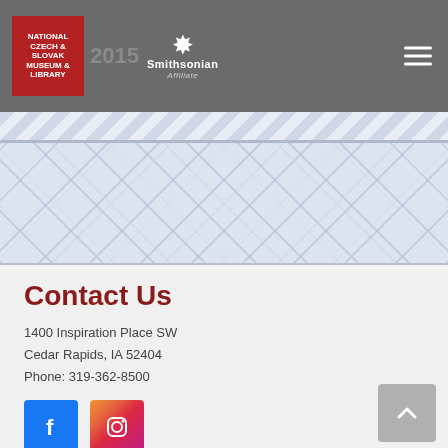[Figure (logo): National Czech & Slovak Museum & Library logo with red background, white text, and Smithsonian Affiliate branding. Navigation hamburger menu icon on the right.]
[Figure (illustration): Decorative banner with diagonal stripe pattern and diamond/checkerboard pattern in light blue-gray colors.]
Contact Us
1400 Inspiration Place SW
Cedar Rapids, IA 52404
Phone: 319-362-8500
[Figure (other): Social media icons: Facebook (blue), Instagram (gradient), YouTube (red), Twitter (blue). Back to top button (gray) on right side.]